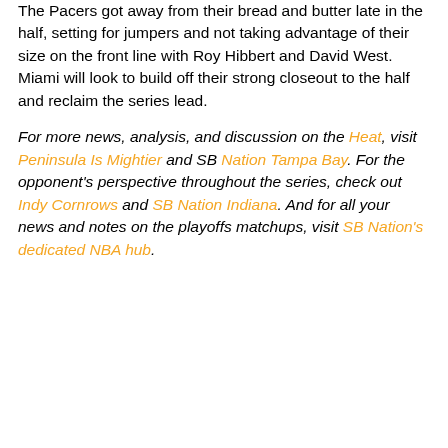The Pacers got away from their bread and butter late in the half, setting for jumpers and not taking advantage of their size on the front line with Roy Hibbert and David West. Miami will look to build off their strong closeout to the half and reclaim the series lead.
For more news, analysis, and discussion on the Heat, visit Peninsula Is Mightier and SB Nation Tampa Bay. For the opponent's perspective throughout the series, check out Indy Cornrows and SB Nation Indiana. And for all your news and notes on the playoffs matchups, visit SB Nation's dedicated NBA hub.